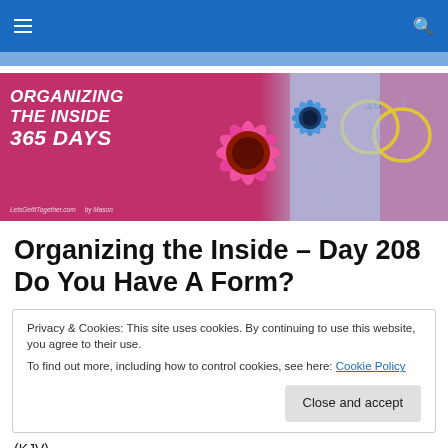Navigation bar with hamburger menu and search icon
[Figure (illustration): Banner image for 'Organizing The Inside 365 Days' blog by LetsGetItTogether.com by Mason. Features pink and blue daisies on a magenta background with a blurred calendar on the right side.]
Organizing the Inside – Day 208 Do You Have A Form?
Privacy & Cookies: This site uses cookies. By continuing to use this website, you agree to their use.
To find out more, including how to control cookies, see here: Cookie Policy
[Close and accept button]
(KJV)